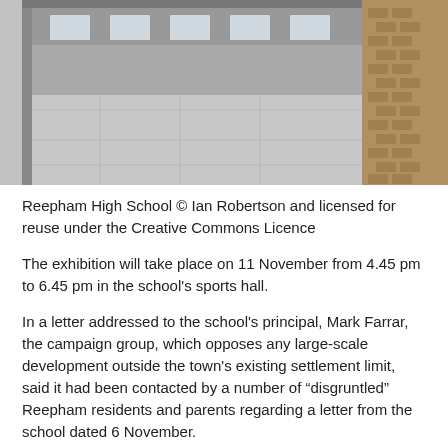[Figure (photo): Exterior view of Reepham High School building showing concrete paving in foreground and brick wall on right side]
Reepham High School © Ian Robertson and licensed for reuse under the Creative Commons Licence
The exhibition will take place on 11 November from 4.45 pm to 6.45 pm in the school's sports hall.
In a letter addressed to the school's principal, Mark Farrar, the campaign group, which opposes any large-scale development outside the town's existing settlement limit, said it had been contacted by a number of “disgruntled” Reepham residents and parents regarding a letter from the school dated 6 November.
Realistic Reepham said the letter “seems to have been written without any real appreciation of the High School's position in the community, and its responsibilities to that community”.